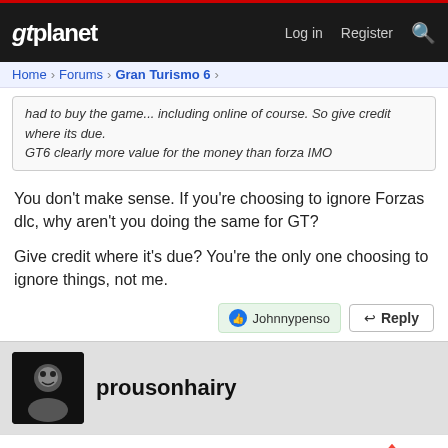gtplanet — Log in  Register
Home > Forums > Gran Turismo 6
had to buy the game... including online of course. So give credit where its due.
GT6 clearly more value for the money than forza IMO
You don't make sense. If you're choosing to ignore Forzas dlc, why aren't you doing the same for GT?

Give credit where it's due? You're the only one choosing to ignore things, not me.
Johnnypenso
Reply
prousonhairy
Dec 22, 2015
#33